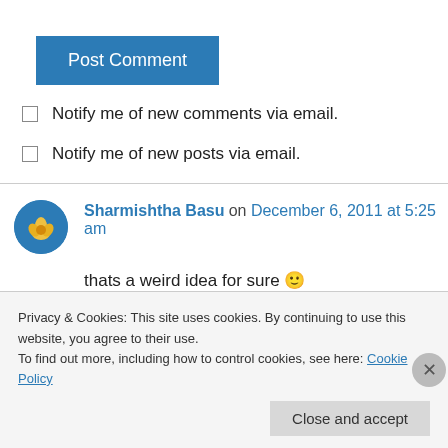[Figure (other): Post Comment button — blue rectangular button with white text]
Notify me of new comments via email.
Notify me of new posts via email.
Sharmishtha Basu on December 6, 2011 at 5:25 am
thats a weird idea for sure 🙂
i would have preferred mine in its natural direction
Privacy & Cookies: This site uses cookies. By continuing to use this website, you agree to their use.
To find out more, including how to control cookies, see here: Cookie Policy